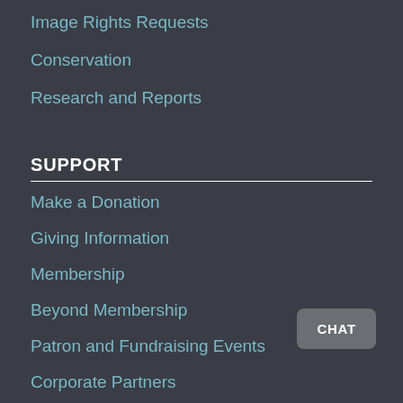Image Rights Requests
Conservation
Research and Reports
SUPPORT
Make a Donation
Giving Information
Membership
Beyond Membership
Patron and Fundraising Events
Corporate Partners
Planned Giving